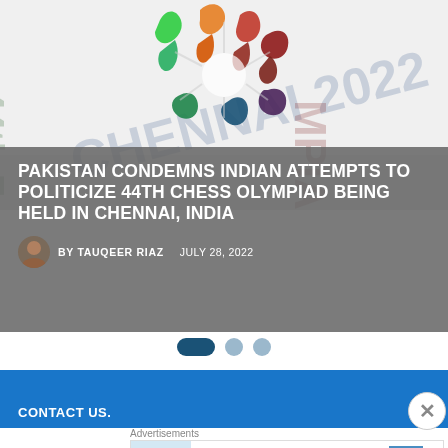[Figure (photo): 44th Chess Olympiad logo with colorful figure design, Chennai 2022, shown as a hero image at the top of the article]
PAKISTAN CONDEMNS INDIAN ATTEMPTS TO POLITICIZE 44TH CHESS OLYMPIAD BEING HELD IN CHENNAI, INDIA
BY TAUQEER RIAZ   JULY 28, 2022
[Figure (other): Carousel navigation dots: one active elongated dot (dark teal) and two inactive grey dots]
[Figure (other): Blue banner section]
CONTACT US.
Advertisements
[Figure (photo): Advertisement banner: person photographing misty landscape, Over 150,000 5-star reviews, Day One Journal logo]